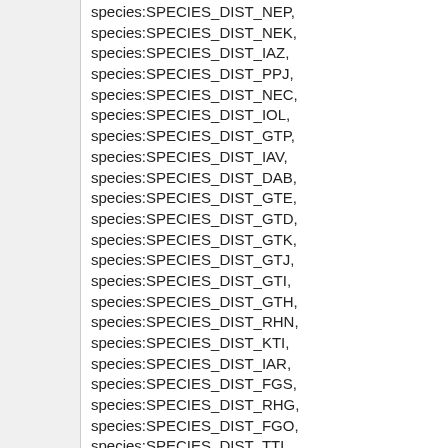species:SPECIES_DIST_NEP, species:SPECIES_DIST_NEK, species:SPECIES_DIST_IAZ, species:SPECIES_DIST_PPJ, species:SPECIES_DIST_NEC, species:SPECIES_DIST_IOL, species:SPECIES_DIST_GTP, species:SPECIES_DIST_IAV, species:SPECIES_DIST_DAB, species:SPECIES_DIST_GTE, species:SPECIES_DIST_GTD, species:SPECIES_DIST_GTK, species:SPECIES_DIST_GTJ, species:SPECIES_DIST_GTI, species:SPECIES_DIST_GTH, species:SPECIES_DIST_RHN, species:SPECIES_DIST_KTI, species:SPECIES_DIST_IAR, species:SPECIES_DIST_FGS, species:SPECIES_DIST_RHG, species:SPECIES_DIST_FGO, species:SPECIES_DIST_TTL, species:SPECIES_DIST_TDQ, species:SPECIES_DIST_KTV, species:SPECIES_DIST_HIX,